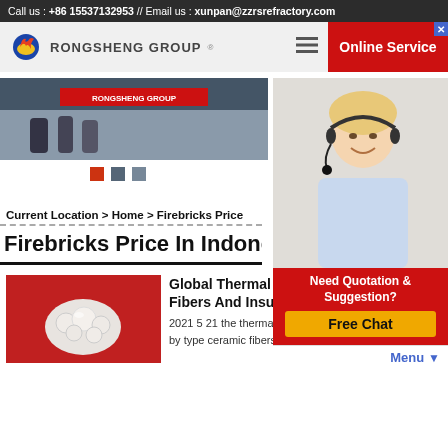Call us : +86 15537132953 // Email us : xunpan@zzrsrefractory.com
[Figure (logo): Rongsheng Group logo with flame/globe icon and text RONGSHENG GROUP]
[Figure (photo): Rongsheng Group exhibition booth photo with red banner label]
[Figure (other): Three colored navigation dots: red, dark gray, gray]
Current Location > Home > Firebricks Price
Firebricks Price In Indonesia
[Figure (photo): Online service widget with blonde woman wearing headset, red background with text 'Online Service', quotation box 'Need Quotation & Suggestion? Free Chat']
[Figure (photo): Article thumbnail photo of white ceramic fibers/balls on red background]
Global Thermal Ceramics Ceramic Fibers And Insulating
2021 5 21 the thermal ceramics market research report by type ceramic fibers and